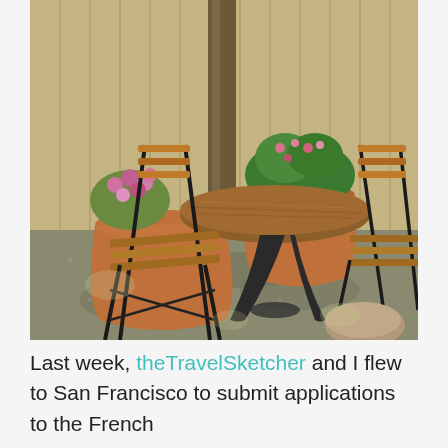[Figure (photo): Outdoor French bistro-style seating area with three wooden-slatted metal folding chairs around a small round wooden table on a gravel patio. Terracotta pots with pink and green flowering plants are visible behind the table and chairs. A wooden fence and tree trunk are in the background. Dappled sunlight creates shadows on the gravel. A large stone is in the foreground right.]
Last week, theTravelSketcher and I flew to San Francisco to submit applications to the French